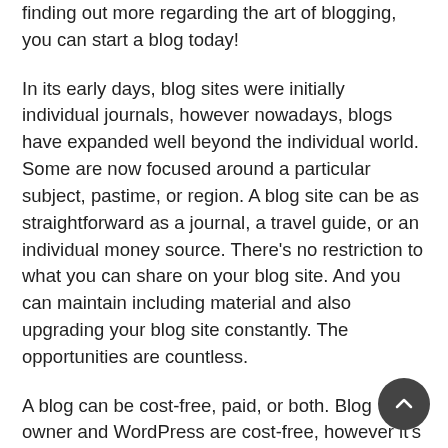finding out more regarding the art of blogging, you can start a blog today!

In its early days, blog sites were initially individual journals, however nowadays, blogs have expanded well beyond the individual world. Some are now focused around a particular subject, pastime, or region. A blog site can be as straightforward as a journal, a travel guide, or an individual money source. There’s no restriction to what you can share on your blog site. And you can maintain including material and also upgrading your blog site constantly. The opportunities are countless.

A blog can be cost-free, paid, or both. Blog owner and WordPress are cost-free, however it’s better to buy a domain name as well as hosting service to develop a much more professional photo. You can also start a blog site based upon obscure leisure activities. The vital point to remember is that you need to keep upgrading your blog usually with brand-new web content to keep your readers interested. If you’re unsure what topic to blog around, take into consideration a content calendar or writing